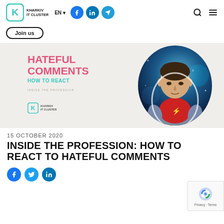Kharkiv IT Cluster — EN — navigation with social icons, search, menu
Join us
[Figure (illustration): Banner image for article 'Hateful Comments: How to React — Inside the Profession', featuring bold pink text 'HATEFUL COMMENTS', teal text 'HOW TO REACT', Kharkiv IT Cluster logo, and a person in a red Flash t-shirt inside a circular cosmic background.]
15 OCTOBER 2020
INSIDE THE PROFESSION: HOW TO REACT TO HATEFUL COMMENTS
[Figure (other): Social share buttons: Facebook, Twitter, LinkedIn circles]